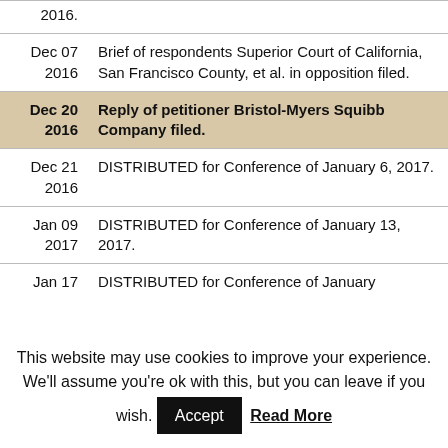| Date | Description |
| --- | --- |
| 2016. |  |
| Dec 07
2016 | Brief of respondents Superior Court of California, San Francisco County, et al. in opposition filed. |
| Dec 20
2016 | Reply of petitioner Bristol-Myers Squibb Company filed. |
| Dec 21
2016 | DISTRIBUTED for Conference of January 6, 2017. |
| Jan 09
2017 | DISTRIBUTED for Conference of January 13, 2017. |
| Jan 17 | DISTRIBUTED for Conference of January |
This website may use cookies to improve your experience. We'll assume you're ok with this, but you can leave if you wish. Accept Read More